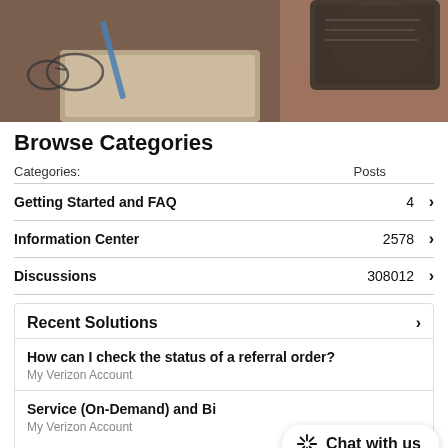[Figure (photo): Person's hand holding a tablet/notebook on a wooden desk with glasses and pencil visible]
Browse Categories
| Categories: | Posts |  |
| --- | --- | --- |
| Getting Started and FAQ | 4 | > |
| Information Center | 2578 | > |
| Discussions | 308012 | > |
Recent Solutions
How can I check the status of a referral order?
My Verizon Account
Service (On-Demand) and Bi...
My Verizon Account